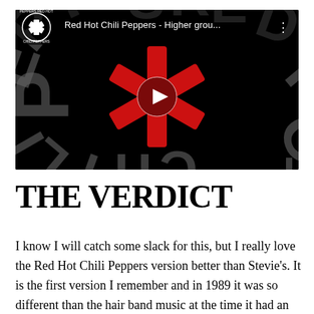[Figure (screenshot): YouTube video thumbnail showing Red Hot Chili Peppers logo (red asterisk on black background) with circular text 'PEPPERS RED HOT CHILI PEPPERS'. Video title bar shows 'Red Hot Chili Peppers - Higher grou...' with three-dot menu. Large play button in center.]
THE VERDICT
I know I will catch some slack for this, but I really love the Red Hot Chili Peppers version better than Stevie's. It is the first version I remember and in 1989 it was so different than the hair band music at the time it had an